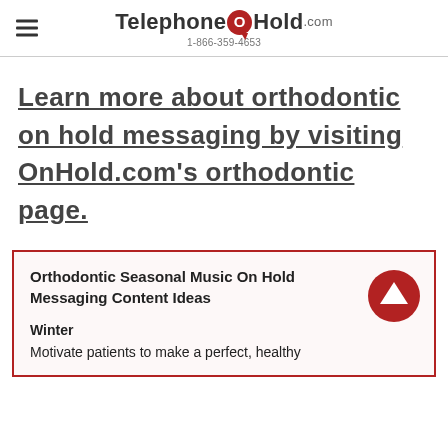TelephoneOnHold.com 1-866-359-4653
Learn more about orthodontic on hold messaging by visiting OnHold.com's orthodontic page.
Orthodontic Seasonal Music On Hold Messaging Content Ideas
Winter
Motivate patients to make a perfect, healthy